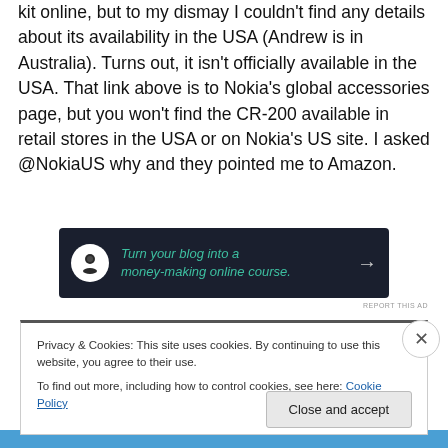kit online, but to my dismay I couldn't find any details about its availability in the USA (Andrew is in Australia). Turns out, it isn't officially available in the USA. That link above is to Nokia's global accessories page, but you won't find the CR-200 available in retail stores in the USA or on Nokia's US site. I asked @NokiaUS why and they pointed me to Amazon.
[Figure (other): Dark navy advertisement banner: tree/person icon on white circle, green italic text 'Turn your blog into a money-making online course.' with arrow]
REPORT THIS AD
Privacy & Cookies: This site uses cookies. By continuing to use this website, you agree to their use.
To find out more, including how to control cookies, see here: Cookie Policy
Close and accept